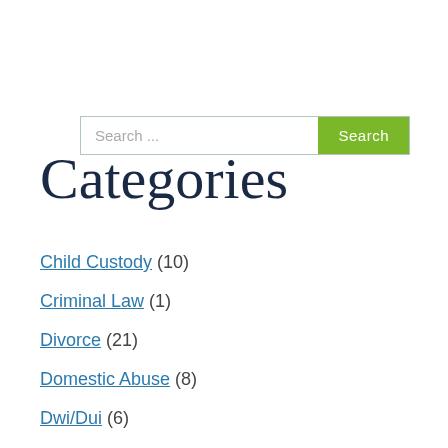[Figure (screenshot): Search bar with text input field showing 'Search ...' placeholder and a green 'Search' button]
Categories
Child Custody (10)
Criminal Law (1)
Divorce (21)
Domestic Abuse (8)
Dwi/Dui (6)
Marijuana Possession (5)